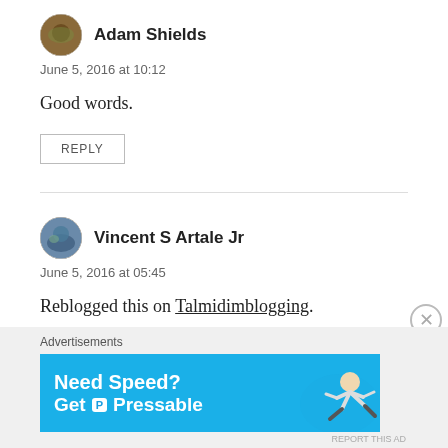[Figure (photo): Avatar of Adam Shields, circular profile photo with outdoor/nature tones]
Adam Shields
June 5, 2016 at 10:12
Good words.
REPLY
[Figure (photo): Avatar of Vincent S Artale Jr, circular profile photo with blue/green tones]
Vincent S Artale Jr
June 5, 2016 at 05:45
Reblogged this on Talmidimblogging.
REPLY
Advertisements
[Figure (screenshot): Blue advertisement banner: Need Speed? Get P Pressable, with image of person flying/running]